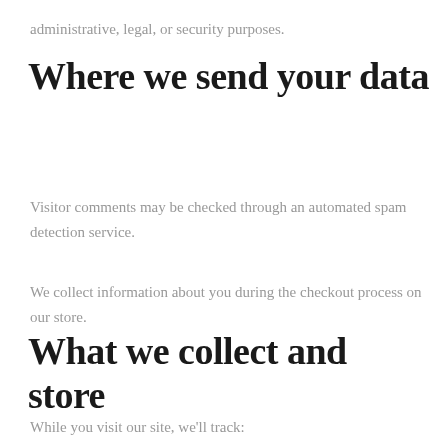administrative, legal, or security purposes.
Where we send your data
Visitor comments may be checked through an automated spam detection service.
We collect information about you during the checkout process on our store.
What we collect and store
While you visit our site, we'll track: